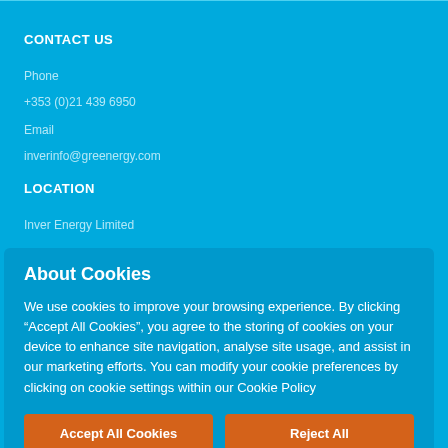CONTACT US
Phone
+353 (0)21 439 6950
Email
inverinfo@greenergy.com
LOCATION
Inver Energy Limited
About Cookies
We use cookies to improve your browsing experience. By clicking “Accept All Cookies”, you agree to the storing of cookies on your device to enhance site navigation, analyse site usage, and assist in our marketing efforts. You can modify your cookie preferences by clicking on cookie settings within our Cookie Policy
Accept All Cookies
Reject All